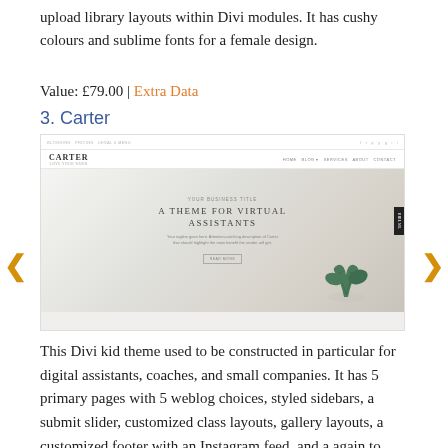upload library layouts within Divi modules. It has cushy colours and sublime fonts for a female design.
Value: £79.00 | Extra Data
3. Carter
[Figure (screenshot): Screenshot of the Carter Divi kid theme website, showing navigation bar with CARTER logo, and a hero section with text 'A THEME FOR VIRTUAL ASSISTANTS' over a light grey/white background with a plant in the foreground.]
This Divi kid theme used to be constructed in particular for digital assistants, coaches, and small companies. It has 5 primary pages with 5 weblog choices, styled sidebars, a submit slider, customized class layouts, gallery layouts, a customized footer with an Instagram feed, and a again to best button